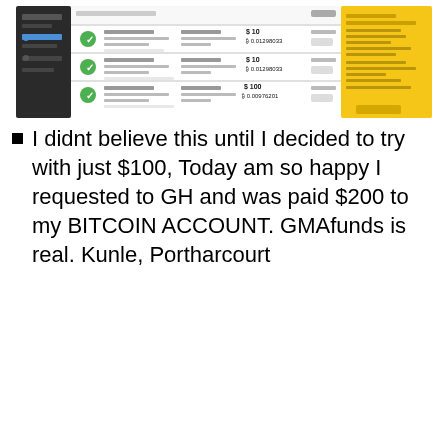[Figure (screenshot): Screenshot of a Bitcoin/cryptocurrency payment dashboard showing transaction records with green checkmarks, amounts in BTC (0.01298033, 0.01298033, 0.00976201), dates around 2018-12, and a yellow/gold highlighted panel on the right showing transaction details.]
I didnt believe this until I decided to try with just $100, Today am so happy I requested to GH and was paid $200 to my BITCOIN ACCOUNT. GMAfunds is real. Kunle, Portharcourt